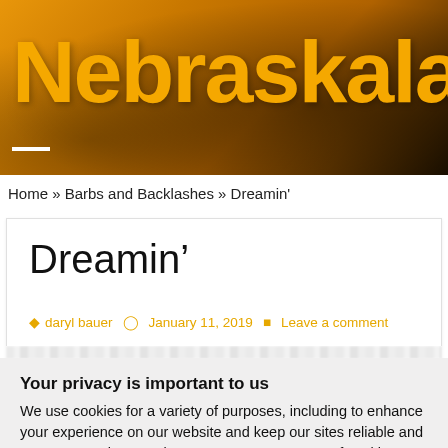[Figure (photo): Nebraskaland website header banner with golden/orange landscape background and large yellow 'Nebraskaland' title text]
Nebraskaland
Home » Barbs and Backlashes » Dreamin'
Dreamin'
daryl bauer   January 11, 2019   Leave a comment
Your privacy is important to us
We use cookies for a variety of purposes, including to enhance your experience on our website and keep our sites reliable and secure. By using our sites, you agree to our use of cookies. Read our privacy policy.
Cookie settings   ACCEPT